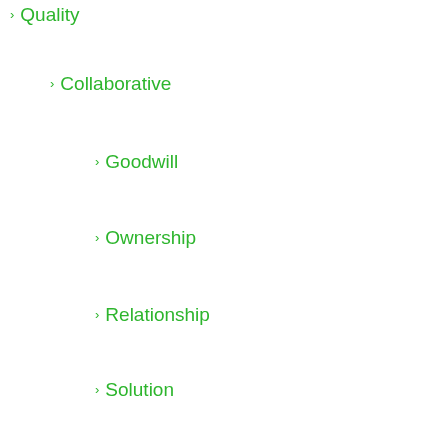Quality
Collaborative
Goodwill
Ownership
Relationship
Solution
Holistic
Parts
People
Process
Sustainable
Design & Build